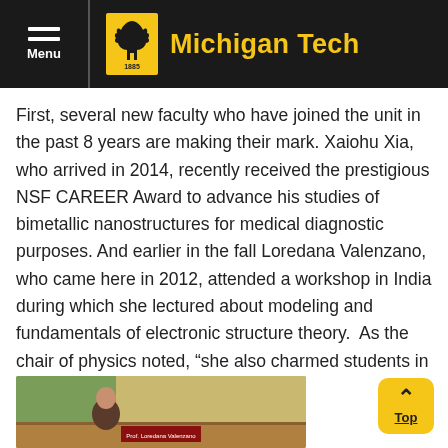Michigan Tech
First, several new faculty who have joined the unit in the past 8 years are making their mark. Xaiohu Xia, who arrived in 2014, recently received the prestigious NSF CAREER Award to advance his studies of bimetallic nanostructures for medical diagnostic purposes. And earlier in the fall Loredana Valenzano, who came here in 2012, attended a workshop in India during which she lectured about modeling and fundamentals of electronic structure theory.  As the chair of physics noted, “she also charmed students in her own Italian way!”
[Figure (photo): Photo of a person at a workshop, partially visible at the bottom of the page]